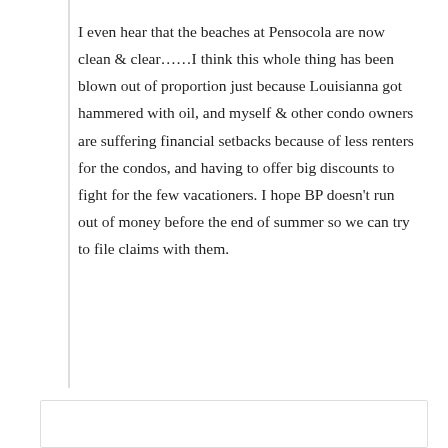I even hear that the beaches at Pensocola are now clean & clear……I think this whole thing has been blown out of proportion just because Louisianna got hammered with oil, and myself & other condo owners are suffering financial setbacks because of less renters for the condos, and having to offer big discounts to fight for the few vacationers. I hope BP doesn't run out of money before the end of summer so we can try to file claims with them.
★ Like
↳ Reply
Ken Agnew